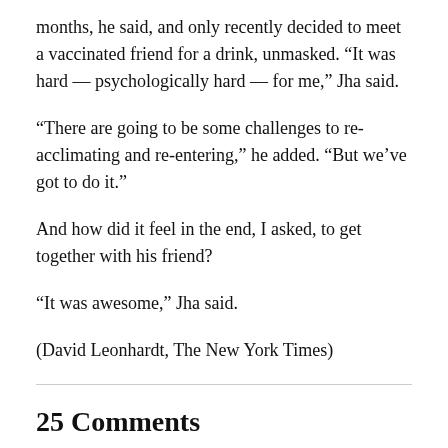months, he said, and only recently decided to meet a vaccinated friend for a drink, unmasked. “It was hard — psychologically hard — for me,” Jha said.
“There are going to be some challenges to re-acclimating and re-entering,” he added. “But we’ve got to do it.”
And how did it feel in the end, I asked, to get together with his friend?
“It was awesome,” Jha said.
(David Leonhardt, The New York Times)
25 Comments
Michael Kaufman